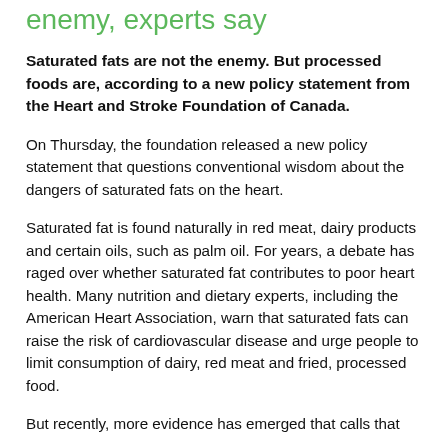enemy, experts say
Saturated fats are not the enemy. But processed foods are, according to a new policy statement from the Heart and Stroke Foundation of Canada.
On Thursday, the foundation released a new policy statement that questions conventional wisdom about the dangers of saturated fats on the heart.
Saturated fat is found naturally in red meat, dairy products and certain oils, such as palm oil. For years, a debate has raged over whether saturated fat contributes to poor heart health. Many nutrition and dietary experts, including the American Heart Association, warn that saturated fats can raise the risk of cardiovascular disease and urge people to limit consumption of dairy, red meat and fried, processed food.
But recently, more evidence has emerged that calls that